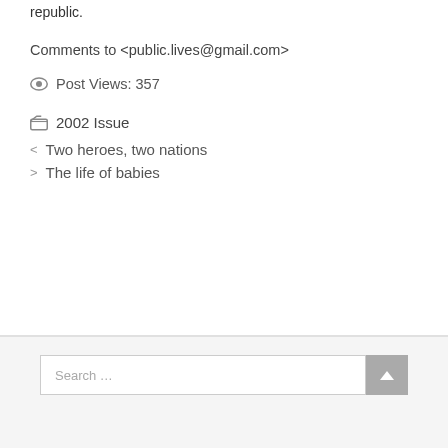republic.
Comments to <public.lives@gmail.com>
Post Views: 357
2002 Issue
< Two heroes, two nations
> The life of babies
Search …